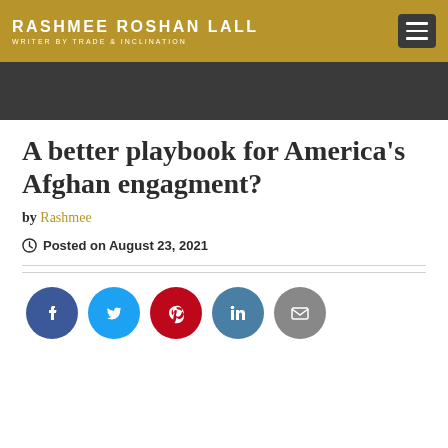RASHMEE ROSHAN LALL — WRITER BY TRADE & INCLINATION
A better playbook for America's Afghan engagment?
by Rashmee
Posted on August 23, 2021
[Figure (infographic): Social sharing icons row: Facebook (blue circle), Twitter (cyan circle), Pinterest (red circle), LinkedIn (teal circle), Email (grey circle)]